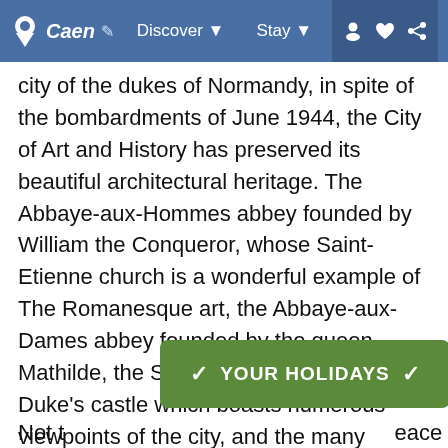Caen / | Discover ▾ | Stay ▾
city of the dukes of Normandy, in spite of the bombardments of June 1944, the City of Art and History has preserved its beautiful architectural heritage. The Abbaye-aux-Hommes abbey founded by William the Conqueror, whose Saint-Etienne church is a wonderful example of The Romanesque art, the Abbaye-aux-Dames abbey founded by the queen Mathilde, the Saint-Pierre church, the Duke's castle which boasts numerous viewpoints of the city, and the many mansions, such as the Renaissance Escoville residence, are some of the sites to be seen or visite
[Figure (screenshot): Green banner button with chevrons and text 'YOUR HOLIDAYS']
Not t ... eace